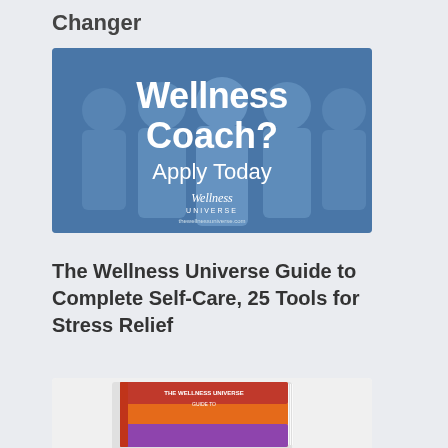Changer
[Figure (photo): Wellness Coach? Apply Today — Wellness Universe promotional banner with group of smiling people in blue-tinted overlay]
The Wellness Universe Guide to Complete Self-Care, 25 Tools for Stress Relief
[Figure (photo): Book cover of The Wellness Universe Guide to Complete Self-Care, partially visible at bottom of page]